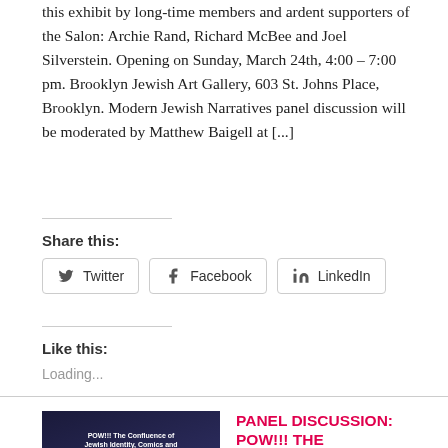this exhibit by long-time members and ardent supporters of the Salon: Archie Rand, Richard McBee and Joel Silverstein. Opening on Sunday, March 24th, 4:00 – 7:00 pm. Brooklyn Jewish Art Gallery, 603 St. Johns Place, Brooklyn. Modern Jewish Narratives panel discussion will be moderated by Matthew Baigell at [...]
Share this:
Twitter
Facebook
LinkedIn
Like this:
Loading...
PANEL DISCUSSION: POW!!! THE CONFLUENCE OF JEWISH IDENTITY, COMICS AND FINE ART
March 13, 2018 · by jewishartsalon · in Archie Rand, Goldie Gross, J.A.S. Events, Joel Silverstein, Julian Voloj · 2 Comments